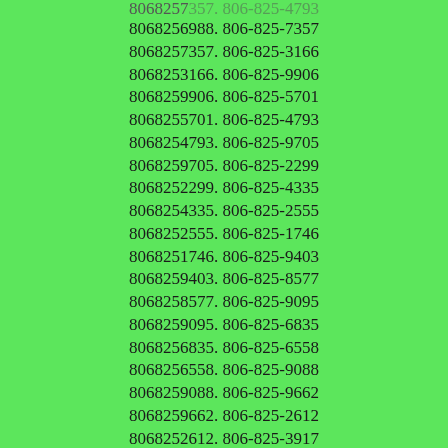8068257357. 806-825-4793 (cut off top) 8068256988. 806-825-7357 8068257357. 806-825-3166 8068253166. 806-825-9906 8068259906. 806-825-5701 8068255701. 806-825-4793 8068254793. 806-825-9705 8068259705. 806-825-2299 8068252299. 806-825-4335 8068254335. 806-825-2555 8068252555. 806-825-1746 8068251746. 806-825-9403 8068259403. 806-825-8577 8068258577. 806-825-9095 8068259095. 806-825-6835 8068256835. 806-825-6558 8068256558. 806-825-9088 8068259088. 806-825-9662 8068259662. 806-825-2612 8068252612. 806-825-3917 8068253917. 806-825-6273 8068256273. 806-825-9390 8068259390. 806-825-1884 8068251884. 806-825-9278 8068259278. 806-825-0317 Caller Name Identify My Caller 8068250317. 806-